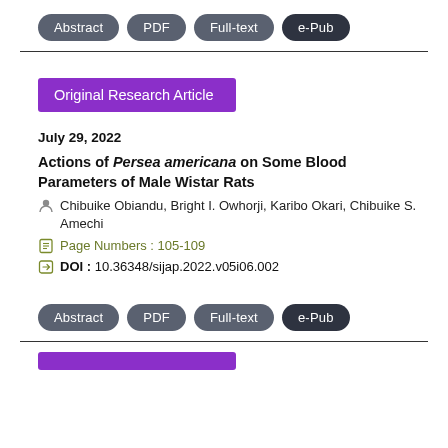Abstract  PDF  Full-text  e-Pub
Original Research Article
July 29, 2022
Actions of Persea americana on Some Blood Parameters of Male Wistar Rats
Chibuike Obiandu, Bright I. Owhorji, Karibo Okari, Chibuike S. Amechi
Page Numbers : 105-109
DOI : 10.36348/sijap.2022.v05i06.002
Abstract  PDF  Full-text  e-Pub